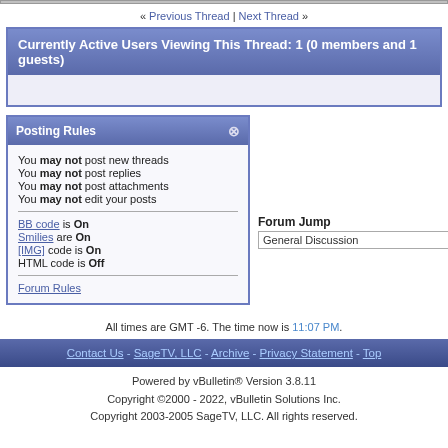« Previous Thread | Next Thread »
Currently Active Users Viewing This Thread: 1 (0 members and 1 guests)
Posting Rules
You may not post new threads
You may not post replies
You may not post attachments
You may not edit your posts
BB code is On
Smilies are On
[IMG] code is On
HTML code is Off
Forum Rules
Forum Jump
General Discussion
All times are GMT -6. The time now is 11:07 PM.
Contact Us - SageTV, LLC - Archive - Privacy Statement - Top
Powered by vBulletin® Version 3.8.11
Copyright ©2000 - 2022, vBulletin Solutions Inc.
Copyright 2003-2005 SageTV, LLC. All rights reserved.